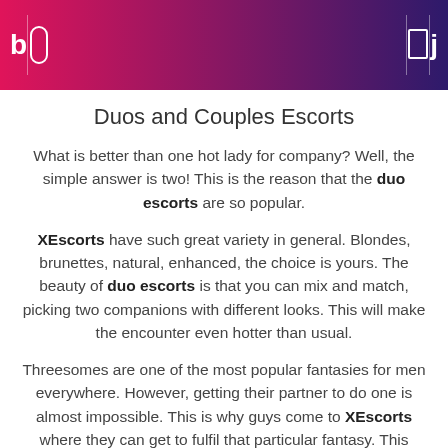[Figure (other): Navigation header bar with gradient from pink/magenta to dark purple, containing icons: b, paperclip icon, bookmark icon, j with vertical dividers between them]
Duos and Couples Escorts
What is better than one hot lady for company? Well, the simple answer is two! This is the reason that the duo escorts are so popular.
XEscorts have such great variety in general. Blondes, brunettes, natural, enhanced, the choice is yours. The beauty of duo escorts is that you can mix and match, picking two companions with different looks. This will make the encounter even hotter than usual.
Threesomes are one of the most popular fantasies for men everywhere. However, getting their partner to do one is almost impossible. This is why guys come to XEscorts where they can get to fulfil that particular fantasy. This makes it one of the most popular services available in the whole